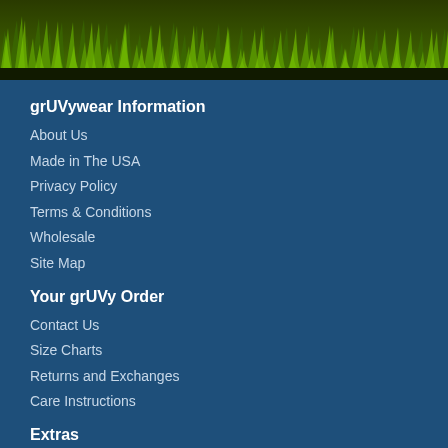[Figure (illustration): Green grass banner along the top of the page with dark soil/ground at bottom]
grUVywear Information
About Us
Made in The USA
Privacy Policy
Terms & Conditions
Wholesale
Site Map
Your grUVy Order
Contact Us
Size Charts
Returns and Exchanges
Care Instructions
Extras
Gift Vouchers
Affiliates
Special Events
Sun Safety